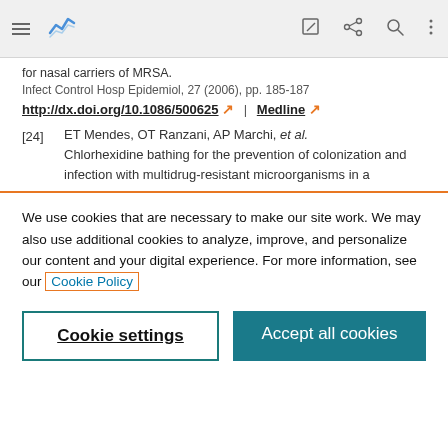Navigation bar with hamburger menu, logo, edit, share, search, and more icons
for nasal carriers of MRSA.
Infect Control Hosp Epidemiol, 27 (2006), pp. 185-187
http://dx.doi.org/10.1086/500625 | Medline
[24] ET Mendes, OT Ranzani, AP Marchi, et al. Chlorhexidine bathing for the prevention of colonization and infection with multidrug-resistant microorganisms in a
We use cookies that are necessary to make our site work. We may also use additional cookies to analyze, improve, and personalize our content and your digital experience. For more information, see our Cookie Policy
Cookie settings
Accept all cookies